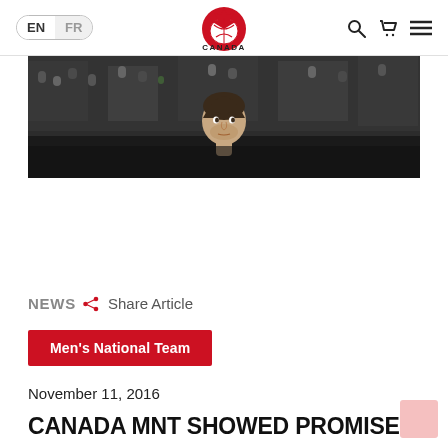EN FR — Canada Soccer Logo — Search, Cart, Menu
[Figure (photo): A male soccer player in front of a stadium crowd, dark background; hero banner image for Canada Soccer article]
NEWS Share Article
Men's National Team
November 11, 2016
CANADA MNT SHOWED PROMISE